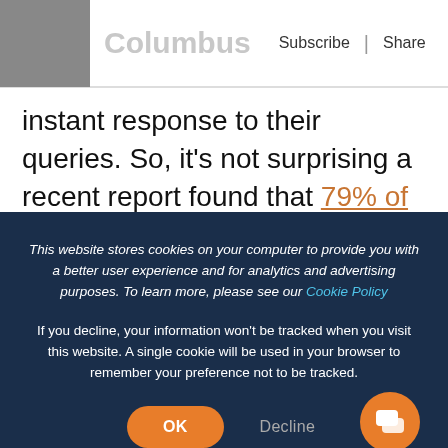Columbus | Subscribe | Share
instant response to their queries. So, it's not surprising a recent report found that 79% of customers say they prefer live chat purely because of the immediacy it offers compared to other channels.
Some ways live chat helps boost your customer
This website stores cookies on your computer to provide you with a better user experience and for analytics and advertising purposes. To learn more, please see our Cookie Policy
If you decline, your information won't be tracked when you visit this website. A single cookie will be used in your browser to remember your preference not to be tracked.